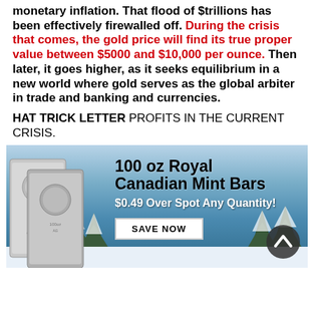monetary inflation. That flood of $trillions has been effectively firewalled off. During the crisis that comes, the gold price will find its true proper value between $5000 and $10,000 per ounce. Then later, it goes higher, as it seeks equilibrium in a new world where gold serves as the global arbiter in trade and banking and currencies.
HAT TRICK LETTER PROFITS IN THE CURRENT CRISIS.
[Figure (photo): Advertisement banner for 100 oz Royal Canadian Mint Bars at $0.49 Over Spot Any Quantity with a Save Now button, featuring silver bars and snowy trees background.]